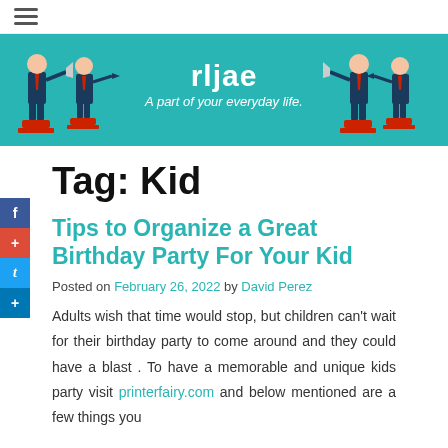[Figure (illustration): Website banner for 'rljae - A part of your everyday life' with teal background and illustrated business people figures on left and right sides]
Tag: Kid
Tips to Organize a Great Birthday Party For Your Kid
Posted on February 26, 2022 by David Perez
Adults wish that time would stop, but children can't wait for their birthday party to come around and they could have a blast . To have a memorable and unique kids party visit printerfairy.com and below mentioned are a few things you